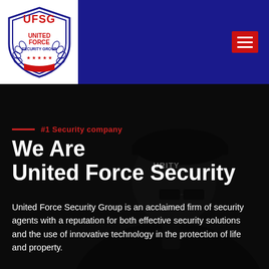[Figure (logo): UFSG United Force Security Group shield logo with laurel wreath and stars on white background]
Navigation hamburger menu button (red)
[Figure (photo): Security guard wearing a dark cap with 'SECURITY' text and glasses, talking on a radio or phone, dark background]
#1 Security company
We Are United Force Security
United Force Security Group is an acclaimed firm of security agents with a reputation for both effective security solutions and the use of innovative technology in the protection of life and property.